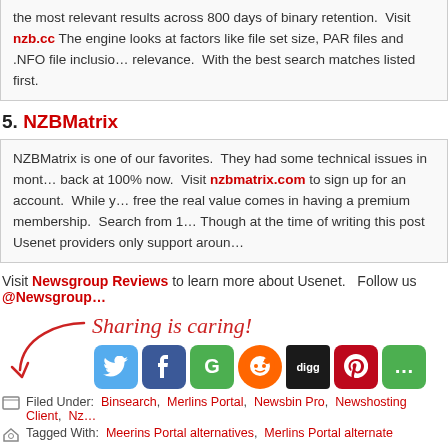...the most relevant results across 800 days of binary retention. Visit nzb.cc... The engine looks at factors like file set size, PAR files and .NFO file inclusion... relevance. With the best search matches listed first.
5. NZBMatrix
NZBMatrix is one of our favorites. They had some technical issues in months past but are back at 100% now. Visit nzbmatrix.com to sign up for an account. While you can search for free the real value comes in having a premium membership. Search from 1... Though at the time of writing this post Usenet providers only support around...
Visit Newsgroup Reviews to learn more about Usenet. Follow us @Newsgroup...
[Figure (infographic): Sharing is caring! text with arrow and social media share buttons: Twitter, Facebook, Google+, Reddit, Digg, Pinterest, and more]
Filed Under: Binsearch, Merlins Portal, Newsbin Pro, Newshosting Client, Nz...
Tagged With: Meerins Portal alternatives, Merlins Portal alternate
NZBMatrix Site Down : Find Temporary Alternatives